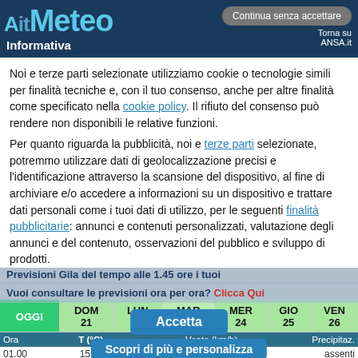AitMeteo
Informativa
Continua senza accettare
Torna su ANSA.it
Noi e terze parti selezionate utilizziamo cookie o tecnologie simili per finalità tecniche e, con il tuo consenso, anche per altre finalità come specificato nella cookie policy. Il rifiuto del consenso può rendere non disponibili le relative funzioni.
Per quanto riguarda la pubblicità, noi e terze parti selezionate, potremmo utilizzare dati di geolocalizzazione precisi e l'identificazione attraverso la scansione del dispositivo, al fine di archiviare e/o accedere a informazioni su un dispositivo e trattare dati personali come i tuoi dati di utilizzo, per le seguenti finalità pubblicitarie: annunci e contenuti personalizzati, valutazione degli annunci e del contenuto, osservazioni del pubblico e sviluppo di prodotti.
MENU
Previsioni Gila del tempo alle 1.45 ore i tuoi
Vuoi consultare le previsioni ora per ora? Clicca Qui
| OGGI | DOM 21 | LUN 22 | MAR 23 | MER 24 | GIO 25 | VEN 26 |
| --- | --- | --- | --- | --- | --- | --- |
| Ora | T (°C) | Vento (km/h) | Precipitaz. |
| --- | --- | --- | --- |
| 01.00 | 15,2° | SSW moderato | assenti |
Accetta
Scopri di più e personalizza